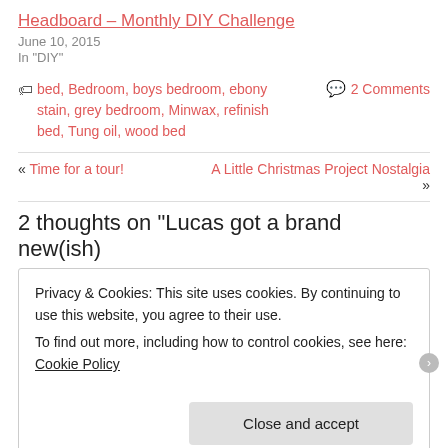Headboard – Monthly DIY Challenge
June 10, 2015
In "DIY"
bed, Bedroom, boys bedroom, ebony stain, grey bedroom, Minwax, refinish bed, Tung oil, wood bed
2 Comments
« Time for a tour!
A Little Christmas Project Nostalgia »
2 thoughts on "Lucas got a brand new(ish)
Privacy & Cookies: This site uses cookies. By continuing to use this website, you agree to their use.
To find out more, including how to control cookies, see here: Cookie Policy
Close and accept